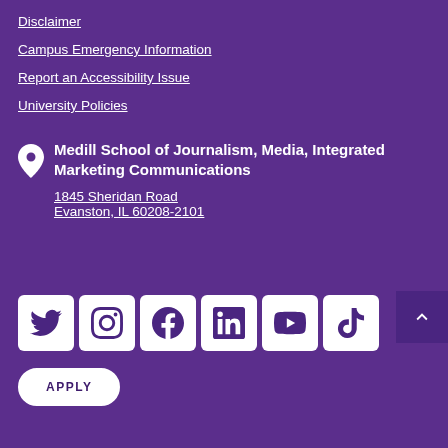Disclaimer
Campus Emergency Information
Report an Accessibility Issue
University Policies
Medill School of Journalism, Media, Integrated Marketing Communications
1845 Sheridan Road
Evanston, IL 60208-2101
[Figure (other): Social media icons for Twitter, Instagram, Facebook, LinkedIn, YouTube, TikTok]
APPLY